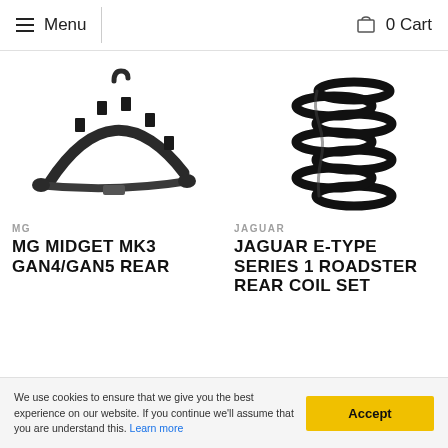Menu | 0 Cart
[Figure (photo): Leaf spring components for MG Midget Mk3 GAN4/GAN5 rear suspension]
MG
MG MIDGET MK3 GAN4/GAN5 REAR
[Figure (photo): Black coil spring for Jaguar E-Type Series 1 Roadster rear suspension]
JAGUAR
JAGUAR E-TYPE SERIES 1 ROADSTER REAR COIL SET
We use cookies to ensure that we give you the best experience on our website. If you continue we'll assume that you are understand this. Learn more